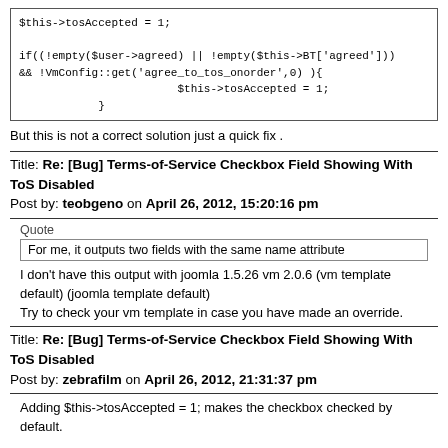[Figure (screenshot): Code block showing PHP: $this->tosAccepted = 1; if((!empty($user->agreed) || !empty($this->BT['agreed'])) && !VmConfig::get('agree_to_tos_onorder',0) ){ $this->tosAccepted = 1; }]
But this is not a correct solution just a quick fix .
Title: Re: [Bug] Terms-of-Service Checkbox Field Showing With ToS Disabled
Post by: teobgeno on April 26, 2012, 15:20:16 pm
Quote
For me, it outputs two fields with the same name attribute
I don't have this output with joomla 1.5.26 vm 2.0.6 (vm template default) (joomla template default)
Try to check your vm template in case you have made an override.
Title: Re: [Bug] Terms-of-Service Checkbox Field Showing With ToS Disabled
Post by: zebrafilm on April 26, 2012, 21:31:37 pm
Adding $this->tosAccepted = 1; makes the checkbox checked by default.